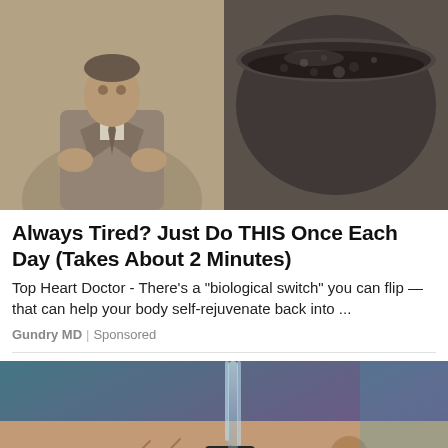[Figure (photo): Two-panel image: left side shows a man in a grey suit, right side shows a dark pot or bowl]
Always Tired? Just Do THIS Once Each Day (Takes About 2 Minutes)
Top Heart Doctor - There’s a “biological switch” you can flip — that can help your body self-rejuvenate back into ...
Gundry MD | Sponsored
[Figure (photo): Close-up of hands with water running over them and a small black and white device on the back of a hand; person wears a bracelet]